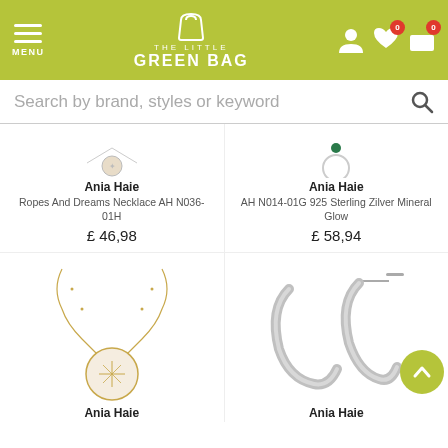[Figure (screenshot): The Little Green Bag website header with logo, menu icon, search bar and nav icons]
Search by brand, styles or keyword
Ania Haie
Ropes And Dreams Necklace AH N036-01H
£ 46,98
Ania Haie
AH N014-01G 925 Sterling Zilver Mineral Glow
£ 58,94
[Figure (photo): Gold necklace with round mother-of-pearl pendant with star detail]
[Figure (photo): Two silver twisted hoop earrings]
Ania Haie
Ania Haie